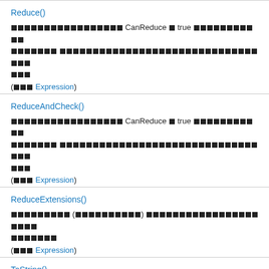Reduce()
このノードを単純化できる場合、CanReduce が true を返します。そうでない場合は、このメソッドを呼び出すと例外がスローされます。
(継承 Expression)
ReduceAndCheck()
このノードを単純化できる場合、CanReduce が true を返します。そうでない場合は、このメソッドを呼び出すと例外がスローされます。
(継承 Expression)
ReduceExtensions()
拡張可能な (CanReduce が true を返す) ノードを既知のノードに縮退します。
(継承 Expression)
ToString()
Expression の文字列表現を返します。
(継承 Expression)